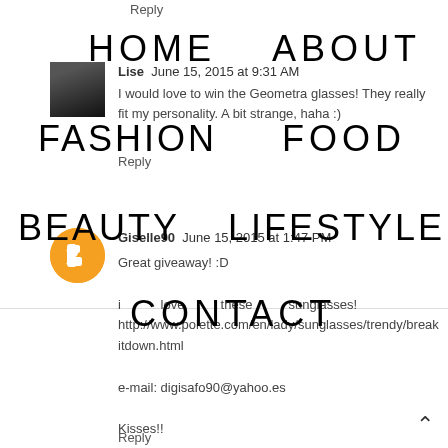Reply
HOME   ABOUT   FASHION   FOOD   BEAUTY   LIFESTYLE   CONTACT
Lise  June 15, 2015 at 9:31 AM
I would love to win the Geometra glasses! They really fit my personality. A bit strange, haha :)
Reply
Giselle90  June 15, 2015 at 1:47 PM
Great giveaway! :D

i   love   these   sunglasses!
http://www.polette.com/en/lady/sunglasses/trendy/breakitdown.html

e-mail: digisafo90@yahoo.es

Kisses!!
Reply